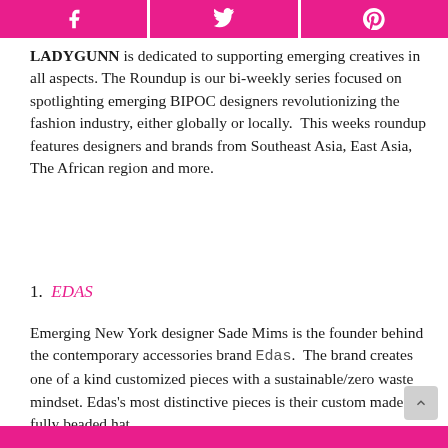[Figure (other): Three pink social media share buttons (Facebook, Twitter, Pinterest) at the top of the page]
LADYGUNN is dedicated to supporting emerging creatives in all aspects. The Roundup is our bi-weekly series focused on spotlighting emerging BIPOC designers revolutionizing the fashion industry, either globally or locally.  This weeks roundup features designers and brands from Southeast Asia, East Asia, The African region and more.
1.  EDAS
Emerging New York designer Sade Mims is the founder behind the contemporary accessories brand Edas.  The brand creates one of a kind customized pieces with a sustainable/zero waste mindset. Edas's most distinctive pieces is their custom made fully beaded hat.